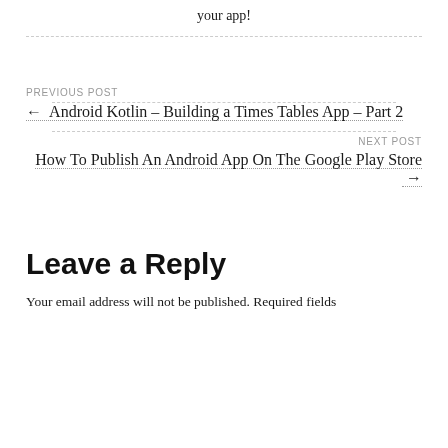your app!
PREVIOUS POST
← Android Kotlin – Building a Times Tables App – Part 2
NEXT POST
How To Publish An Android App On The Google Play Store →
Leave a Reply
Your email address will not be published. Required fields